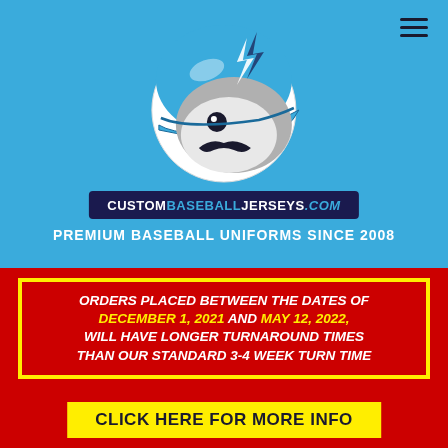[Figure (logo): Baseball helmet mascot with mustache, facing right, wearing a blue helmet with lightning bolts. Gray and white coloring.]
CUSTOMBASEBALLJERSEYS.COM
PREMIUM BASEBALL UNIFORMS SINCE 2008
ORDERS PLACED BETWEEN THE DATES OF DECEMBER 1, 2021 AND MAY 12, 2022, WILL HAVE LONGER TURNAROUND TIMES THAN OUR STANDARD 3-4 WEEK TURN TIME
CLICK HERE FOR MORE INFO